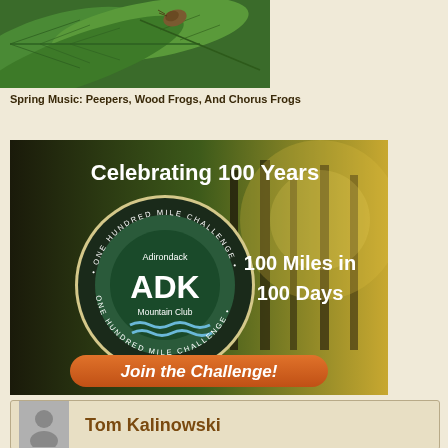[Figure (photo): Close-up photograph of green leaves with what appears to be an insect or seed pod on them]
Spring Music: Peepers, Wood Frogs, And Chorus Frogs
[Figure (infographic): Adirondack Mountain Club advertisement: Celebrating 100 Years. One Hundred Mile Challenge logo with ADK Mountain Club seal. Text: 100 Miles in 100 Days. Orange button: Join the Challenge!]
Tom Kalinowski